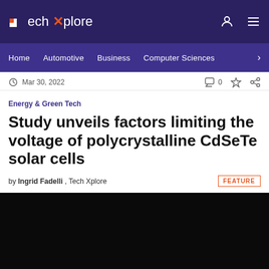TechXplore — Home | Automotive | Business | Computer Sciences
Mar 30, 2022   0
Energy & Green Tech
Study unveils factors limiting the voltage of polycrystalline CdSeTe solar cells
by Ingrid Fadelli , Tech Xplore   FEATURE
[Figure (photo): Dark background image area, mostly black]